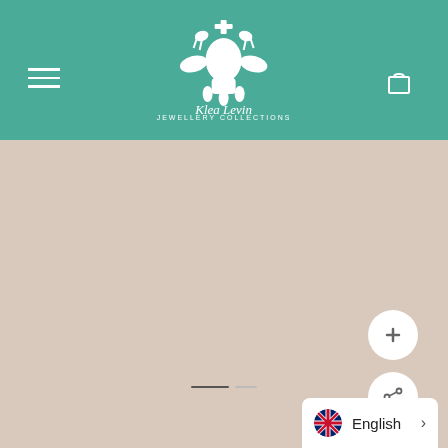[Figure (logo): Klea Levin brand logo with decorative crest illustration in white on teal background, with brand name below]
[Figure (screenshot): E-commerce website screenshot showing teal header with hamburger menu, centered logo, cart icon, and beige/tan content area with zoom and share buttons, slider indicator dots, and English language selector at bottom right]